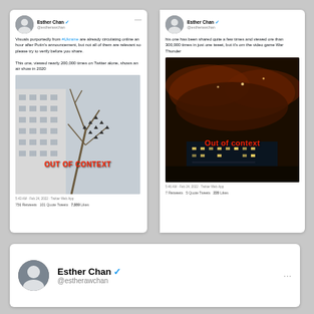[Figure (screenshot): Tweet by Esther Chan showing an air show image labeled OUT OF CONTEXT. Text: Visuals purportedly from #Ukraine are already circulating online an hour after Putin's announcement, but not all of them are relevant so please try to verify before you share. This one, viewed nearly 200,000 times on Twitter alone, shows an air show in 2020. Stats: 756 Retweets, 101 Quote Tweets, 7,089 Likes. Date: 5:43 AM · Feb 24, 2022 · Twitter Web App]
[Figure (screenshot): Tweet by Esther Chan showing a dark night sky image labeled Out of context. Text: his one has been shared quite a few times and viewed ore than 300,000 times in just one tweet, but it's om the video game War Thunder. Stats: 7 Retweets, 5 Quote Tweets, 220 Likes. Date: 5:46 AM · Feb 24, 2022 · Twitter Web App]
[Figure (screenshot): Bottom portion of tweet by Esther Chan (@estherawchan) with blue verified checkmark, showing profile name and username only.]